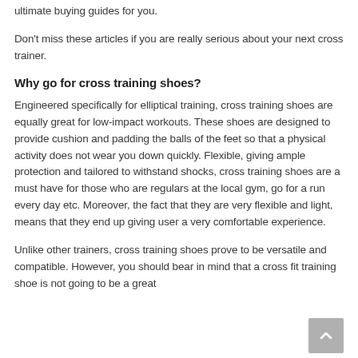ultimate buying guides for you.
Don't miss these articles if you are really serious about your next cross trainer.
Why go for cross training shoes?
Engineered specifically for elliptical training, cross training shoes are equally great for low-impact workouts. These shoes are designed to provide cushion and padding the balls of the feet so that a physical activity does not wear you down quickly. Flexible, giving ample protection and tailored to withstand shocks, cross training shoes are a must have for those who are regulars at the local gym, go for a run every day etc. Moreover, the fact that they are very flexible and light, means that they end up giving user a very comfortable experience.
Unlike other trainers, cross training shoes prove to be versatile and compatible. However, you should bear in mind that a cross fit training shoe is not going to be a great